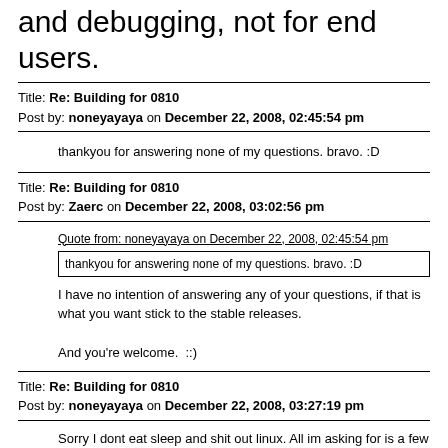and debugging, not for end users.
Title: Re: Building for 0810
Post by: noneyayaya on December 22, 2008, 02:45:54 pm
thankyou for answering none of my questions. bravo. :D
Title: Re: Building for 0810
Post by: Zaerc on December 22, 2008, 03:02:56 pm
Quote from: noneyayaya on December 22, 2008, 02:45:54 pm
thankyou for answering none of my questions. bravo. :D
I have no intention of answering any of your questions, if that is what you want stick to the stable releases.

And you're welcome.  ::)
Title: Re: Building for 0810
Post by: noneyayaya on December 22, 2008, 03:27:19 pm
Sorry I dont eat sleep and shit out linux. All im asking for is a few answers obviously if im using Linuxmce I have a clue about how this works so if your just gonna sit there and spit out some lame response just go away and let someone that actually has the patience / answer not a, i dont give a shit attitude. Sorry you were raised with that attitude problem dont